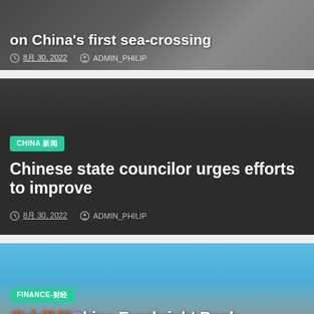[Figure (photo): Dark background card with railway/industrial scene, showing article about China's first sea-crossing]
on China's first sea-crossing
8月 30, 2022   ADMIN_PHILIP
[Figure (photo): Dark card with no image background showing article about Chinese state councilor]
CHINA 新闻
Chinese state councilor urges efforts to improve
8月 30, 2022   ADMIN_PHILIP
[Figure (photo): Photo of China Everbright Bank building with blue sky and trees visible]
FINANCE-财经
光大银行China Everbright Bank records 16% rise in